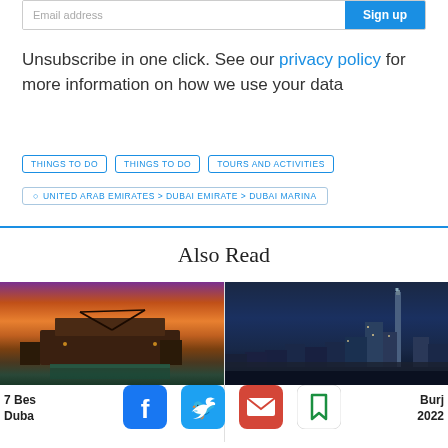Email address
Sign up
Unsubscribe in one click. See our privacy policy for more information on how we use your data
THINGS TO DO
THINGS TO DO
TOURS AND ACTIVITIES
UNITED ARAB EMIRATES > DUBAI EMIRATE > DUBAI MARINA
Also Read
[Figure (photo): Desert villa with pool at sunset, warm orange and purple sky]
[Figure (photo): Dubai skyline at night with Burj Khalifa in background]
7 Bes
Duba
[Figure (logo): Facebook logo icon in blue rounded square]
[Figure (logo): Twitter logo icon in blue rounded square]
[Figure (logo): Email/mail icon in red rounded square]
[Figure (logo): Bookmark/save icon in green outline rounded square]
Burj
2022